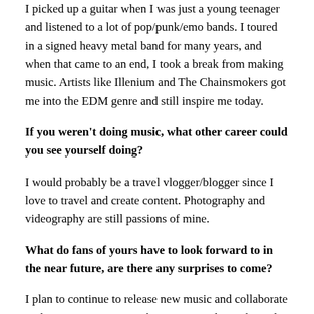I picked up a guitar when I was just a young teenager and listened to a lot of pop/punk/emo bands. I toured in a signed heavy metal band for many years, and when that came to an end, I took a break from making music. Artists like Illenium and The Chainsmokers got me into the EDM genre and still inspire me today.
If you weren't doing music, what other career could you see yourself doing?
I would probably be a travel vlogger/blogger since I love to travel and create content. Photography and videography are still passions of mine.
What do fans of yours have to look forward to in the near future, are there any surprises to come?
I plan to continue to release new music and collaborate with various artists over the next several months. I also plan to release